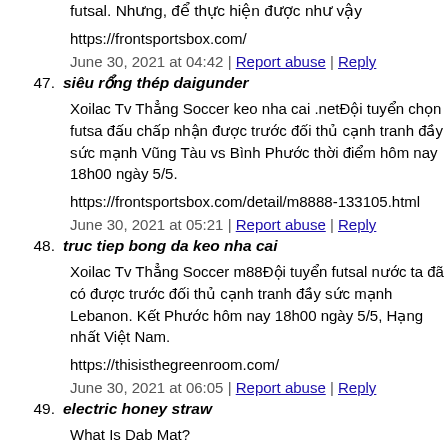futsal. Nhưng, để thực hiện được như vậy
https://frontsportsbox.com/
June 30, 2021 at 04:42 | Report abuse | Reply
47. siêu rổng thép daigunder
Xoilac Tv Thẳng Soccer keo nha cai .netĐội tuyển chọn futsa đấu chấp nhận được trước đối thủ cạnh tranh đầy sức mạnh Vũng Tàu vs Bình Phước thời điểm hôm nay 18h00 ngày 5/5.
https://frontsportsbox.com/detail/m8888-133105.html
June 30, 2021 at 05:21 | Report abuse | Reply
48. truc tiep bong da keo nha cai
Xoilac Tv Thẳng Soccer m88Đội tuyển futsal nước ta đã có được trước đối thủ cạnh tranh đầy sức mạnh Lebanon. Kết Phước hôm nay 18h00 ngày 5/5, Hạng nhất Việt Nam.
https://thisisthegreenroom.com/
June 30, 2021 at 06:05 | Report abuse | Reply
49. electric honey straw
What Is Dab Mat?https://www.posts123.com/user/826119/hem